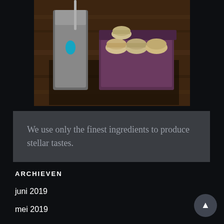[Figure (photo): Photo of a coffee drink in a metal cup next to an open box of macarons on a wooden table. A teal bird logo is visible on the cup.]
We use only the finest ingredients to produce stellar tastes.
ARCHIEVEN
juni 2019
mei 2019
april 2019
maart 2019